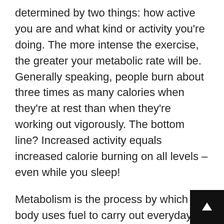determined by two things: how active you are and what kind or activity you're doing. The more intense the exercise, the greater your metabolic rate will be. Generally speaking, people burn about three times as many calories when they're at rest than when they're working out vigorously. The bottom line? Increased activity equals increased calorie burning on all levels – even while you sleep!
Metabolism is the process by which our body uses fuel to carry out everyday tasks. It is an essential part of our body and without it we would not be able to live. Metabolism takes place in three main areas of the body- the digestive system, the brain, and the muscles.
The digestive system is responsible for breaking down food into smaller particles that